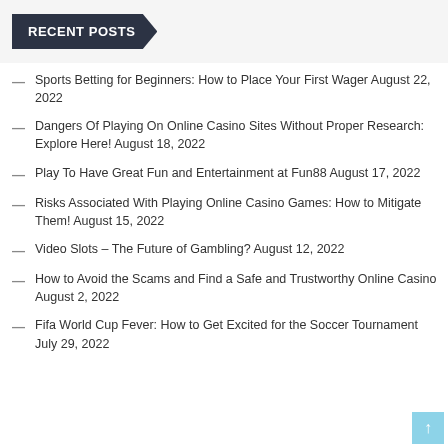RECENT POSTS
Sports Betting for Beginners: How to Place Your First Wager August 22, 2022
Dangers Of Playing On Online Casino Sites Without Proper Research: Explore Here! August 18, 2022
Play To Have Great Fun and Entertainment at Fun88 August 17, 2022
Risks Associated With Playing Online Casino Games: How to Mitigate Them! August 15, 2022
Video Slots – The Future of Gambling? August 12, 2022
How to Avoid the Scams and Find a Safe and Trustworthy Online Casino August 2, 2022
Fifa World Cup Fever: How to Get Excited for the Soccer Tournament July 29, 2022